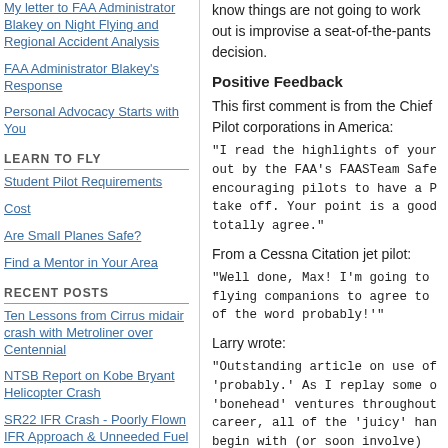My letter to FAA Administrator Blakey on Night Flying and Regional Accident Analysis
FAA Administrator Blakey's Response
Personal Advocacy Starts with You
LEARN TO FLY
Student Pilot Requirements
Cost
Are Small Planes Safe?
Find a Mentor in Your Area
RECENT POSTS
Ten Lessons from Cirrus midair crash with Metroliner over Centennial
NTSB Report on Kobe Bryant Helicopter Crash
SR22 IFR Crash - Poorly Flown IFR Approach & Unneeded Fuel Stop
Electric Aircraft 2020 and Why You'll
know things are not going to work out is improvise a seat-of-the-pants decision.
Positive Feedback
This first comment is from the Chief Pilot corporations in America:
"I read the highlights of your out by the FAA's FAASTeam Safe encouraging pilots to have a P take off. Your point is a good totally agree."
From a Cessna Citation jet pilot:
"Well done, Max! I'm going to flying companions to agree to of the word probably!'"
Larry wrote:
"Outstanding article on use of 'probably.' As I replay some o 'bonehead' ventures throughout career, all of the 'juicy' han begin with (or soon involve)